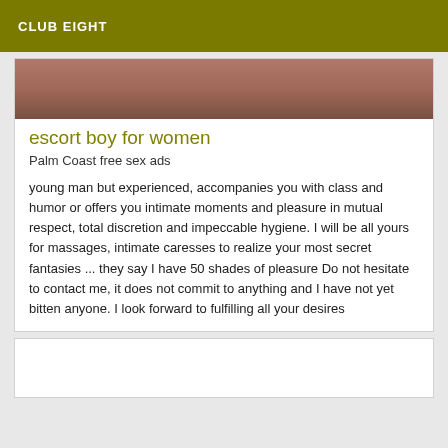CLUB EIGHT
[Figure (photo): Partial photo showing skin tones, appears to be a person, cropped at top of card]
escort boy for women
Palm Coast free sex ads
young man but experienced, accompanies you with class and humor or offers you intimate moments and pleasure in mutual respect, total discretion and impeccable hygiene. I will be all yours for massages, intimate caresses to realize your most secret fantasies ... they say I have 50 shades of pleasure Do not hesitate to contact me, it does not commit to anything and I have not yet bitten anyone. I look forward to fulfilling all your desires